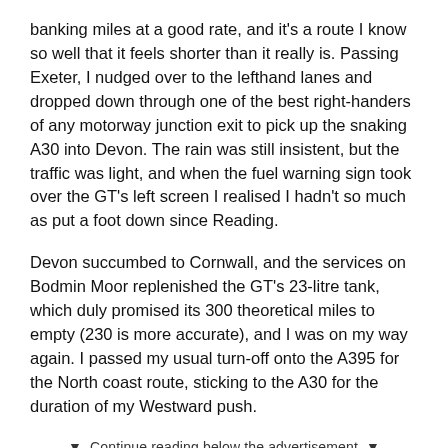banking miles at a good rate, and it's a route I know so well that it feels shorter than it really is. Passing Exeter, I nudged over to the lefthand lanes and dropped down through one of the best right-handers of any motorway junction exit to pick up the snaking A30 into Devon. The rain was still insistent, but the traffic was light, and when the fuel warning sign took over the GT's left screen I realised I hadn't so much as put a foot down since Reading.
Devon succumbed to Cornwall, and the services on Bodmin Moor replenished the GT's 23-litre tank, which duly promised its 300 theoretical miles to empty (230 is more accurate), and I was on my way again. I passed my usual turn-off onto the A395 for the North coast route, sticking to the A30 for the duration of my Westward push.
▼  Continue reading below the advertisement  ▼